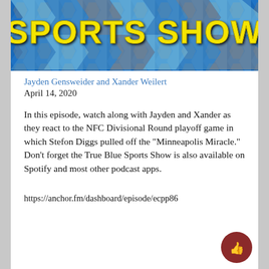[Figure (illustration): Banner image for True Blue Sports Show with yellow stylized text 'SPORTS SHOW' on a geometric blue, gray and white patterned background.]
Jayden Gensweider and Xander Weilert
April 14, 2020
In this episode, watch along with Jayden and Xander as they react to the NFC Divisional Round playoff game in which Stefon Diggs pulled off the "Minneapolis Miracle." Don't forget the True Blue Sports Show is also available on Spotify and most other podcast apps.
https://anchor.fm/dashboard/episode/ecpp86